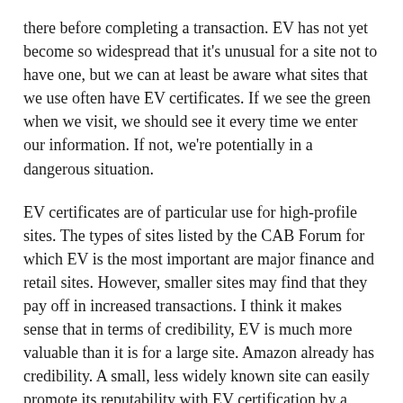there before completing a transaction. EV has not yet become so widespread that it's unusual for a site not to have one, but we can at least be aware what sites that we use often have EV certificates. If we see the green when we visit, we should see it every time we enter our information. If not, we're potentially in a dangerous situation.
EV certificates are of particular use for high-profile sites. The types of sites listed by the CAB Forum for which EV is the most important are major finance and retail sites. However, smaller sites may find that they pay off in increased transactions. I think it makes sense that in terms of credibility, EV is much more valuable than it is for a large site. Amazon already has credibility. A small, less widely known site can easily promote its reputability with EV certification by a trusted name in security (Symantec, for example, has household status as a security name due to the Norton Anti-Virus line, so in that sense it can be used as a marketing tool beyond its technical purpose).